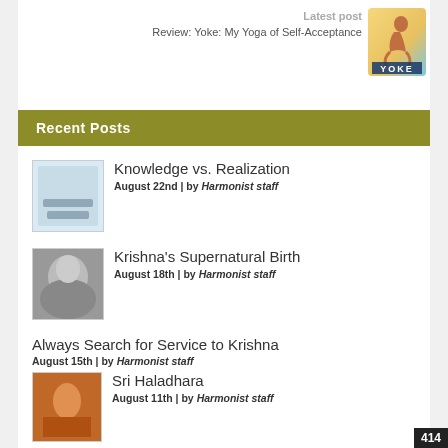Latest post
Review: Yoke: My Yoga of Self-Acceptance
[Figure (photo): Book cover thumbnail for 'Yoke: My Yoga of Self-Acceptance' showing a person in yoga pose with yellow/blue background]
Recent Posts
Knowledge vs. Realization
August 22nd | by Harmonist staff
Krishna's Supernatural Birth
August 18th | by Harmonist staff
Always Search for Service to Krishna
August 15th | by Harmonist staff
Sri Haladhara
August 11th | by Harmonist staff
The Rupanuga Sampradaya
August 8th | by Harmonist staff
414